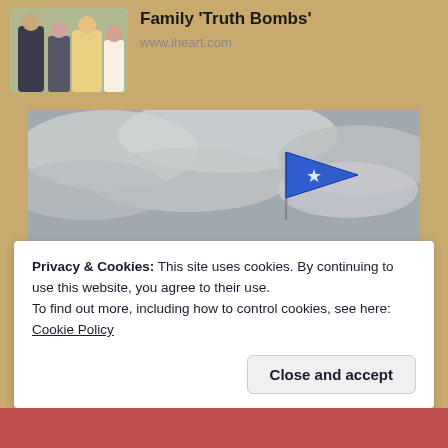[Figure (photo): Thumbnail photo of people at an outdoor event]
Family 'Truth Bombs'
www.iheart.com
[Figure (photo): Close-up photo of the Capitol Records building sign with a blue flag on top against a cloudy sky]
Privacy & Cookies: This site uses cookies. By continuing to use this website, you agree to their use.
To find out more, including how to control cookies, see here: Cookie Policy
Close and accept